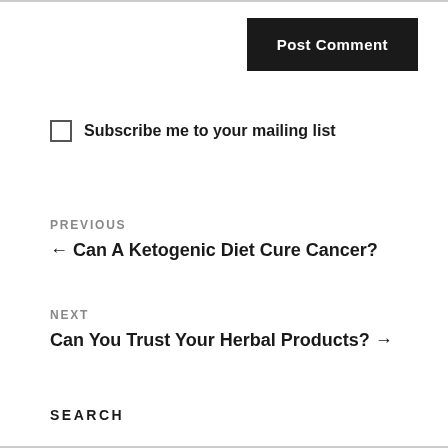Post Comment
Subscribe me to your mailing list
PREVIOUS
← Can A Ketogenic Diet Cure Cancer?
NEXT
Can You Trust Your Herbal Products? →
SEARCH